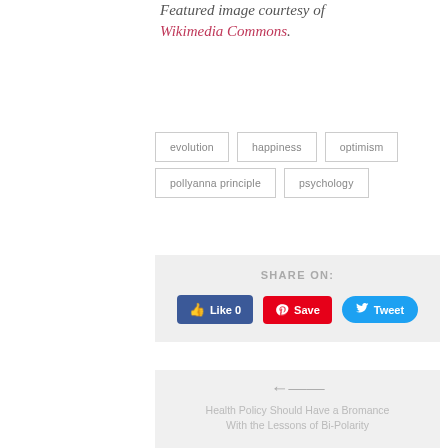Featured image courtesy of Wikimedia Commons.
evolution
happiness
optimism
pollyanna principle
psychology
SHARE ON:
[Figure (screenshot): Social share buttons: Facebook Like 0, Pinterest Save, Twitter Tweet]
Health Policy Should Have a Bromance With the Lessons of Bi-Polarity